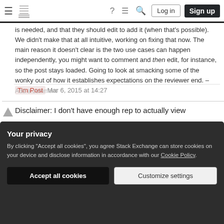Stack Exchange navigation bar with hamburger menu, logo, help, chat, search icons, Log in and Sign up buttons
is needed, and that they should edit to add it (when that's possible). We didn't make that at all intuitive, working on fixing that now. The main reason it doesn't clear is the two use cases can happen independently, you might want to comment and then edit, for instance, so the post stays loaded. Going to look at smacking some of the wonky out of how it establishes expectations on the reviewer end. – Tim Post  Mar 6, 2015 at 14:27
Add a comment
Disclaimer: I don't have enough rep to actually view
Your privacy
By clicking "Accept all cookies", you agree Stack Exchange can store cookies on your device and disclose information in accordance with our Cookie Policy.
Accept all cookies
Customize settings
biggest problem is that editors are being forced